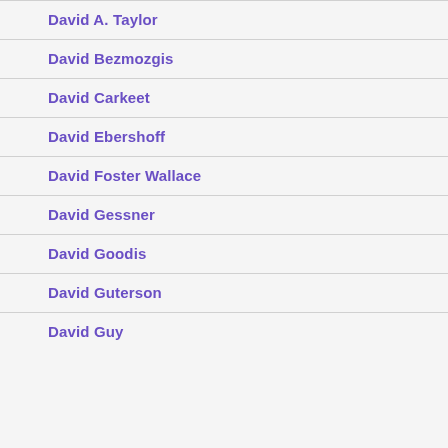David A. Taylor
David Bezmozgis
David Carkeet
David Ebershoff
David Foster Wallace
David Gessner
David Goodis
David Guterson
David Guy